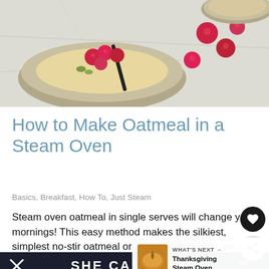[Figure (photo): Overhead shot of a bowl of oatmeal/porridge topped with raspberries and pistachios, with additional raspberries on a marble surface, and a second bowl partially visible at top right.]
How to Make Oatmeal in a Steam Oven
Basics, Breakfast, How To, Just Steam
Steam oven oatmeal in single serves will change your mornings! This easy method makes the silkiest, simplest no-stir oatmeal or porridge while you get ready for your day.
[Figure (photo): Partial view of food photo below the article card, showing a baked dish in a pan.]
[Figure (other): WHAT'S NEXT panel with thumbnail of a Thanksgiving Steam Oven dish and text 'Thanksgiving Steam Oven...']
[Figure (other): SHE CAN STEM banner with dark navy background and white bold text reading 'SHE CAN STEM', with a logo at right.]